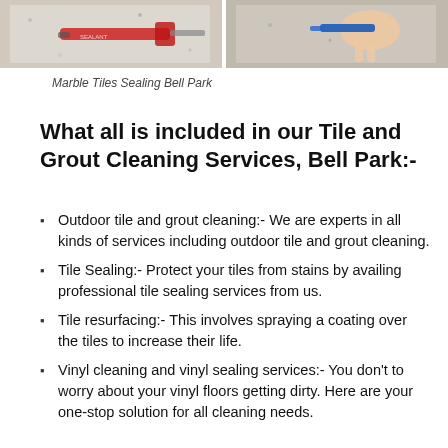[Figure (photo): Two photos side by side showing tile sealing process — left photo shows a caulk gun on a marble tile surface, right photo shows a hand using a sealing applicator on a tile surface.]
Marble Tiles Sealing Bell Park
What all is included in our Tile and Grout Cleaning Services, Bell Park:-
Outdoor tile and grout cleaning:- We are experts in all kinds of services including outdoor tile and grout cleaning.
Tile Sealing:- Protect your tiles from stains by availing professional tile sealing services from us.
Tile resurfacing:- This involves spraying a coating over the tiles to increase their life.
Vinyl cleaning and vinyl sealing services:- You don't to worry about your vinyl floors getting dirty. Here are your one-stop solution for all cleaning needs.